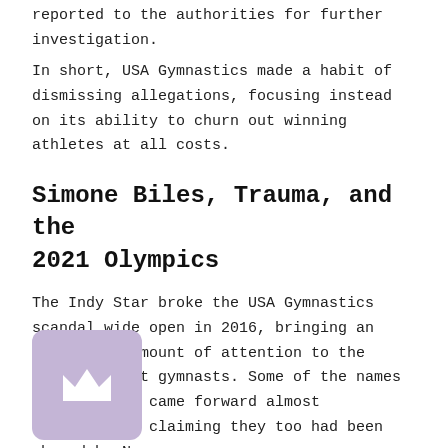reported to the authorities for further investigation.
In short, USA Gymnastics made a habit of dismissing allegations, focusing instead on its ability to churn out winning athletes at all costs.
Simone Biles, Trauma, and the 2021 Olympics
The Indy Star broke the USA Gymnastics scandal wide open in 2016, bringing an incredible amount of attention to the nation's best gymnasts. Some of the names in the sport came forward almost immediately, claiming they too had been abused by Nassar.
[Figure (logo): Purple/lavender rounded square badge with a white crown icon]